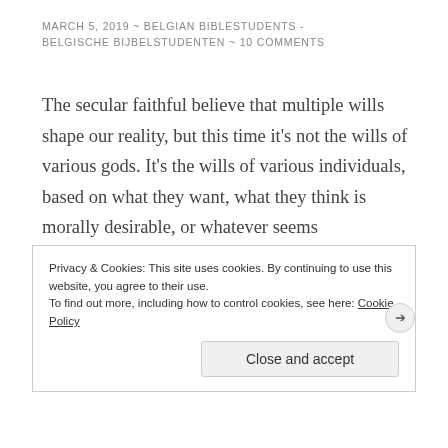MARCH 5, 2019 ~ BELGIAN BIBLESTUDENTS - BELGISCHE BIJBELSTUDENTEN ~ 10 COMMENTS
The secular faithful believe that multiple wills shape our reality, but this time it's not the wills of various gods. It's the wills of various individuals, based on what they want, what they think is morally desirable, or whatever seems compassionate at the moment in a specific case. They make universal law based on idiosyncratic circumstance. Throughout history we find lots of great minds who throughout their life did
Privacy & Cookies: This site uses cookies. By continuing to use this website, you agree to their use.
To find out more, including how to control cookies, see here: Cookie Policy
Close and accept